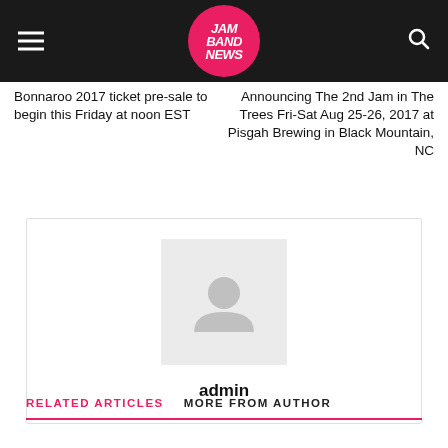JAM BAND NEWS
Bonnaroo 2017 ticket pre-sale to begin this Friday at noon EST
Announcing The 2nd Jam in The Trees Fri-Sat Aug 25-26, 2017 at Pisgah Brewing in Black Mountain, NC
[Figure (illustration): Author avatar placeholder with a person silhouette icon in light gray]
admin
RELATED ARTICLES   MORE FROM AUTHOR